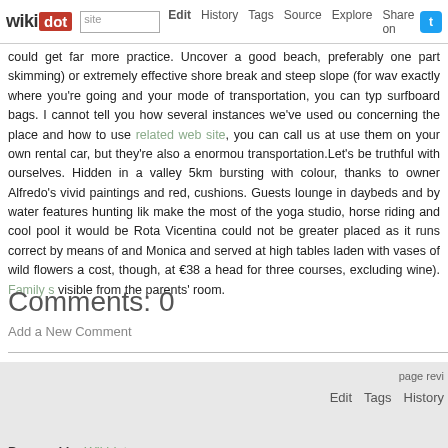wikidot | site Edit History Tags Source Explore Share on
could get far more practice. Uncover a good beach, preferably one part skimming) or extremely effective shore break and steep slope (for wav exactly where you're going and your mode of transportation, you can typ surfboard bags. I cannot tell you how several instances we've used ou concerning the place and how to use related web site, you can call us a use them on your own rental car, but they're also a enormou transportation.Let's be truthful with ourselves. Hidden in a valley 5km bursting with colour, thanks to owner Alfredo's vivid paintings and red, cushions. Guests lounge in daybeds and by water features hunting lik make the most of the yoga studio, horse riding and cool pool it would b Rota Vicentina could not be greater placed as it runs correct by means and Monica and served at high tables laden with vases of wild flowers cost, though, at €38 a head for three courses, excluding wine). Family visible from the parents' room.
Comments: 0
Add a New Comment
page revi Edit Tags History
Powered by Wikidot.com Unless otherwise stated, the content of this page is lice